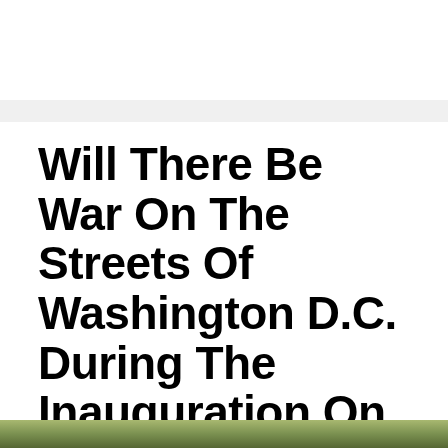Will There Be War On The Streets Of Washington D.C. During The Inauguration On Friday?
January 16, 2017 by Michael
[Figure (other): Social sharing buttons: Facebook (blue), Twitter (cyan), Email (yellow)]
[Figure (photo): Bottom strip showing partial image, cut off at page edge]